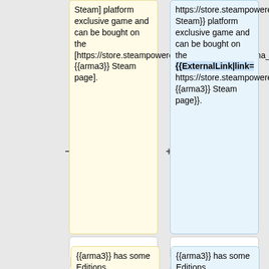Steam] platform exclusive game and can be bought on the [https://store.steampowered.com/app/107410/Arma_3/ {{arma3}} Steam page].
https://store.steampowered.com/|text= Steam}} platform exclusive game and can be bought on the {{ExternalLink|link= https://store.steampowered.com/app/107410/Arma_3/|text= {{arma3}} Steam page}}.
=== Editions ===
=== Editions ===
{{arma3}} has some Editions
{{arma3}} has some Editions